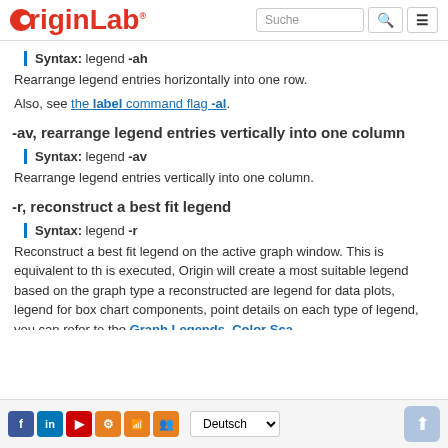[Figure (logo): OriginLab logo with red circle and blue text, search bar and navigation icons]
Syntax: legend -ah
Rearrange legend entries horizontally into one row.
Also, see the label command flag -al.
-av, rearrange legend entries vertically into one column
Syntax: legend -av
Rearrange legend entries vertically into one column.
-r, reconstruct a best fit legend
Syntax: legend -r
Reconstruct a best fit legend on the active graph window. This is equivalent to th... is executed, Origin will create a most suitable legend based on the graph type a... reconstructed are legend for data plots, legend for box chart components, point ... details on each type of legend, you can refer to the Graph Legends, Color Sca...
Social icons, Deutsch language selector, up button